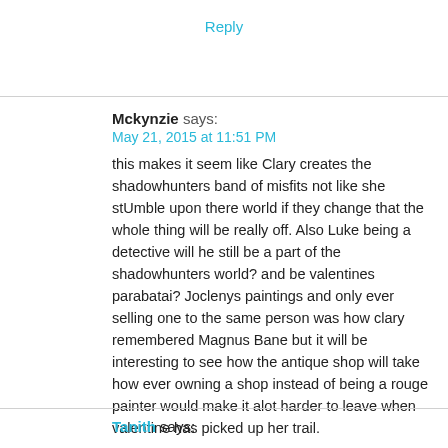Reply
Mckynzie says:
May 21, 2015 at 11:51 PM
this makes it seem like Clary creates the shadowhunters band of misfits not like she stUmble upon there world if they change that the whole thing will be really off. Also Luke being a detective will he still be a part of the shadowhunters world? and be valentines parabatai? Joclenys paintings and only ever selling one to the same person was how clary remembered Magnus Bane but it will be interesting to see how the antique shop will take how ever owning a shop instead of being a rouge painter would make it alot harder to leave when valentine has picked up her trail.
Reply
Tanith says: